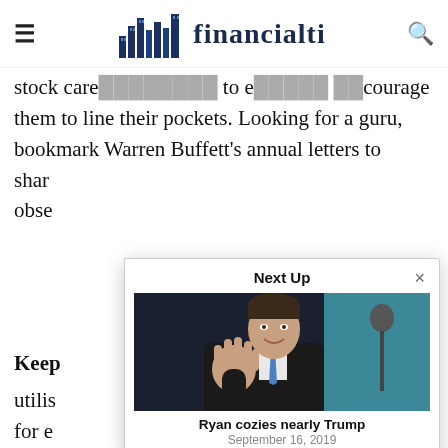≡  Financialti  🔍
stock care mind back to eei not to encourage them to line their pockets. Looking for a guru, bookmark Warren Buffett's annual letters to shar obse
Keep
utilis for e acco on in com diffe
[Figure (photo): Modal popup overlay showing 'Next Up' with a photo of a man in a dark suit with blue tie waving, identified as Paul Ryan]
Ryan cozies nearly Trump
September 16, 2019